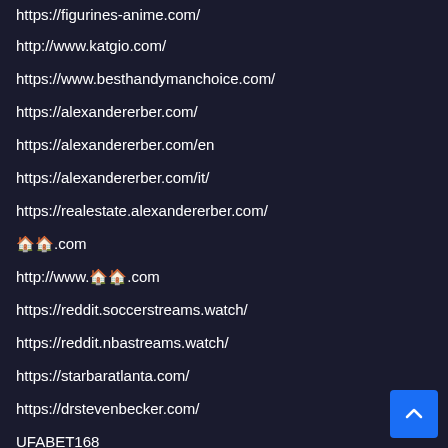https://figurines-anime.com/
http://www.katgio.com/
https://www.besthandymanchoice.com/
https://alexandererber.com/
https://alexandererber.com/en
https://alexandererber.com/it/
https://realestate.alexandererber.com/
🏠.com
http://www.🏠.com
https://reddit.soccerstreams.watch/
https://reddit.nbastreams.watch/
https://starbaratlanta.com/
https://drstevenbecker.com/
UFABET168
новости Кропивницкого